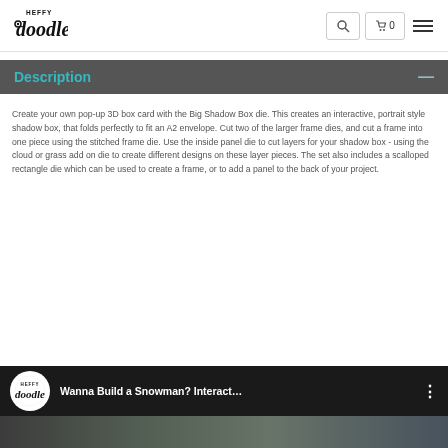Heffy Doodle — logo, search, cart (0), menu
Description
Create your own pop-up 3D box card with the Big Shadow Box die. This creates an interactive, portrait style shadow box, that folds perfectly to fit an A2 envelope. Cut two of the larger frame dies, and cut a frame into one piece using the stitched frame die. Use the inside panel die to cut layers for your shadow box - using the cloud or grass add on die to create different designs on these layer pieces. The set also includes a scalloped rectangle die which can be used to create a frame, or to add a panel to the back of your project.
[Figure (screenshot): YouTube video thumbnail showing Heffy Doodle logo and title 'Wanna Build a Snowman? Interact…' with a three-dot menu icon, and a partial craft project image below.]